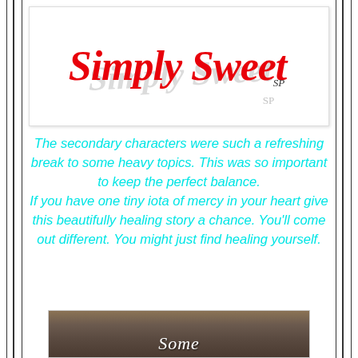[Figure (logo): Simply Sweet blog logo with red cursive script 'Simply Sweet' text and grey shadow, small 'SP' initials in bottom right]
The secondary characters were such a refreshing break to some heavy topics. This was so important to keep the perfect balance. If you have one tiny iota of mercy in your heart give this beautifully healing story a chance. You'll come out different. You might just find healing yourself.
[Figure (photo): Book cover photo showing stacked books with 'Some' visible in white cursive text on a sepia-toned background]